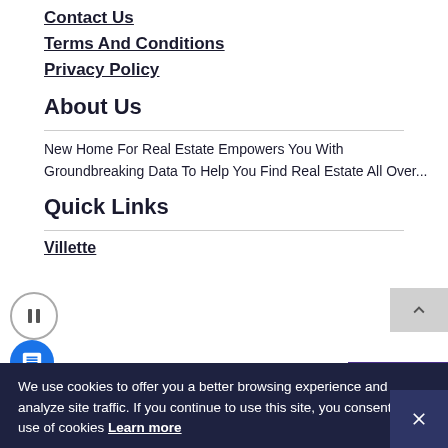Contact Us
Terms And Conditions
Privacy Policy
About Us
New Home For Real Estate Empowers You With Groundbreaking Data To Help You Find Real Estate All Over...
Quick Links
Villette
We use cookies to offer you a better browsing experience and analyze site traffic. If you continue to use this site, you consent to our use of cookies Learn more